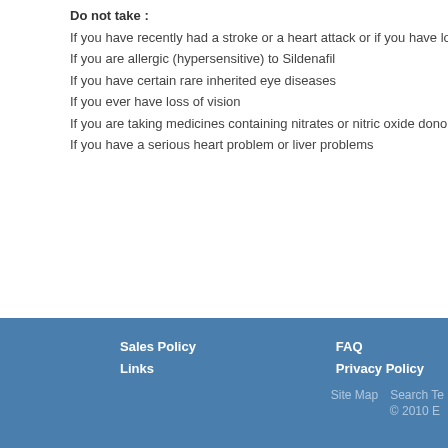Do not take :
If you have recently had a stroke or a heart attack or if you have low blood pressure
If you are allergic (hypersensitive) to Sildenafil
If you have certain rare inherited eye diseases
If you ever have loss of vision
If you are taking medicines containing nitrates or nitric oxide donors
If you have a serious heart problem or liver problems
Become a Fan on FACEBOOK   Follow Us
Sales Policy  Links  FAQ  Privacy Policy  Site Map  Search Te...  © 2010 E...